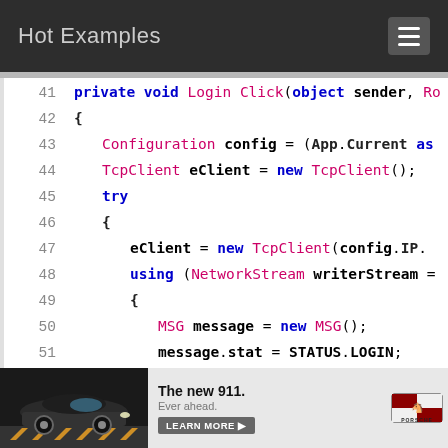Hot Examples
[Figure (screenshot): Code snippet showing C# method Login_Click with TcpClient, NetworkStream, MSG, BinaryFormatter, and Serialize calls on lines 41-55]
[Figure (infographic): Porsche 911 advertisement banner with car image, 'The new 911. Ever ahead.' text, LEARN MORE button, and Porsche logo]